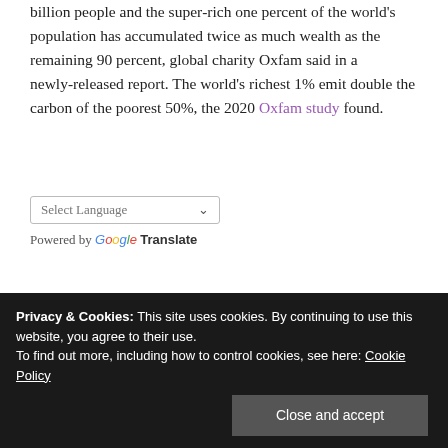billion people and the super-rich one percent of the world's population has accumulated twice as much wealth as the remaining 90 percent, global charity Oxfam said in a newly-released report. The world's richest 1% emit double the carbon of the poorest 50%, the 2020 Oxfam study found.
[Figure (screenshot): Google Translate widget showing a 'Select Language' dropdown box with a dropdown arrow, and below it 'Powered by Google Translate' text with Google's multicolor logo.]
[Figure (screenshot): Search input box with placeholder text 'Search ...']
- PAT ROBINSON -
Privacy & Cookies: This site uses cookies. By continuing to use this website, you agree to their use.
To find out more, including how to control cookies, see here: Cookie Policy